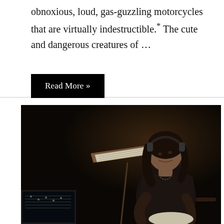obnoxious, loud, gas-guzzling motorcycles that are virtually indestructible.* The cute and dangerous creatures of ...
Read More »
[Figure (photo): A person with shoulder-length dark hair wearing headphones and a black t-shirt, sitting and reading sheet music from a music stand in a dimly lit studio or stage setting. A computer monitor is partially visible in the lower left corner.]